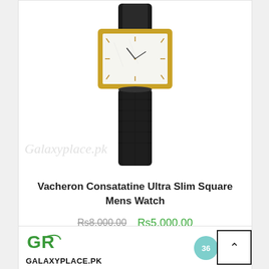[Figure (photo): Vacheron Constantin Ultra Slim Square mens watch with gold rectangular case and white dial, black leather crocodile-pattern strap, shown on white background with Galaxyplace.pk watermark]
Vacheron Consatatine Ultra Slim Square Mens Watch
Rs8,000.00  Rs5,000.00
[Figure (logo): GalaxyPlace.pk logo with green G and R interlocked letters and GALAXYPLACE.PK text below]
[Figure (photo): Partial view of a leather strap watch at the bottom of the page]